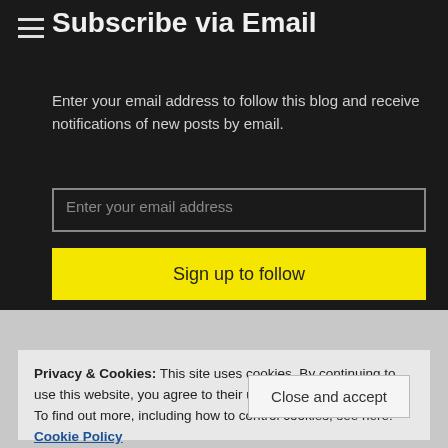Subscribe via Email
Enter your email address to follow this blog and receive notifications of new posts by email.
Privacy & Cookies: This site uses cookies. By continuing to use this website, you agree to their use.
To find out more, including how to control cookies, see here: Cookie Policy